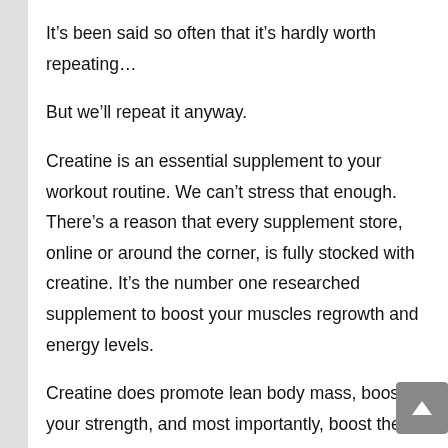It’s been said so often that it’s hardly worth repeating…
But we’ll repeat it anyway.
Creatine is an essential supplement to your workout routine. We can’t stress that enough. There’s a reason that every supplement store, online or around the corner, is fully stocked with creatine. It’s the number one researched supplement to boost your muscles regrowth and energy levels.
Creatine does promote lean body mass, boosts your strength, and most importantly, boost the power in your muscles. It keeps you lean and strong, both on